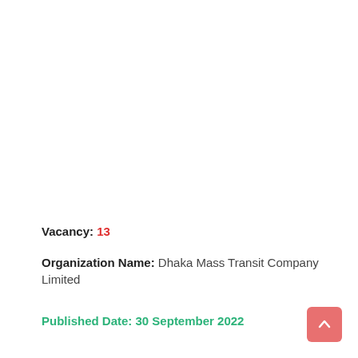Vacancy: 13
Organization Name: Dhaka Mass Transit Company Limited
Published Date: 30 September 2022